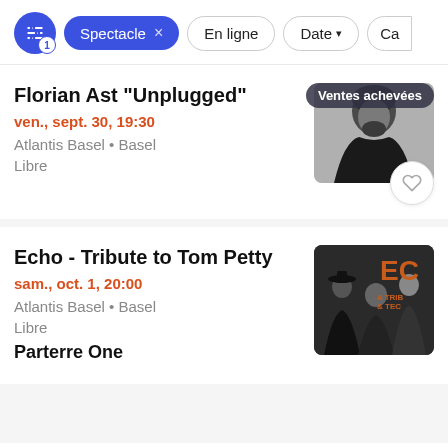Spectacle × En ligne Date Ca
Florian Ast "Unplugged"
ven., sept. 30, 19:30
Atlantis Basel • Basel
Libre
Ventes achevées
[Figure (photo): Black and white portrait photo of Florian Ast in leather jacket]
Echo - Tribute to Tom Petty
sam., oct. 1, 20:00
Atlantis Basel • Basel
Libre
Parterre One
[Figure (photo): Photo of band members with EC logo overlay in orange]